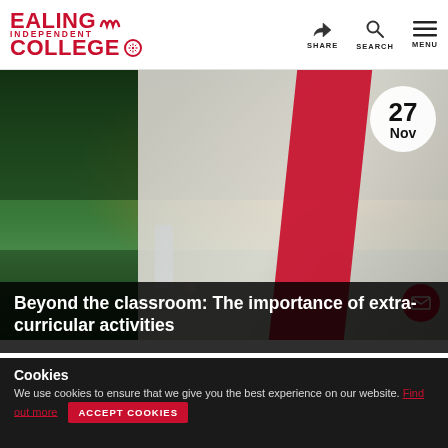Ealing Independent College — SHARE SEARCH MENU
[Figure (photo): A young male student wearing a white Nike long-sleeve shirt with a red diagonal sash/bib, standing on a grass field in a park at sunset. Another person is visible in the background running. A football is on the ground. Date badge shows 27 Nov.]
Beyond the classroom: The importance of extra-curricular activities
Cookies
We use cookies to ensure that we give you the best experience on our website.  Find out more   ACCEPT COOKIES
part of the BelleVUE family